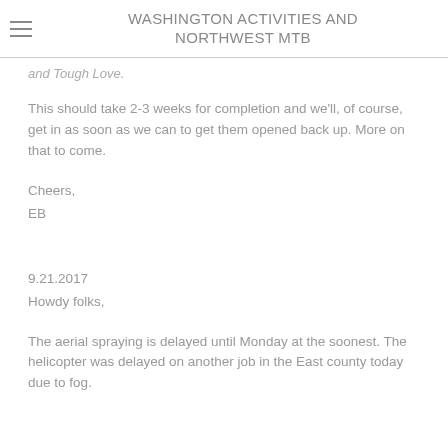WASHINGTON ACTIVITIES AND NORTHWEST MTB
and Tough Love.
This should take 2-3 weeks for completion and we'll, of course, get in as soon as we can to get them opened back up.  More on that to come.
Cheers,
EB
9.21.2017
Howdy folks,
The aerial spraying is delayed until Monday at the soonest.  The helicopter was delayed on another job in the East county today due to fog.